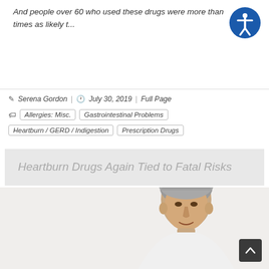And people over 60 who used these drugs were more than times as likely t...
Serena Gordon | July 30, 2019 | Full Page
Allergies: Misc. | Gastrointestinal Problems
Heartburn / GERD / Indigestion | Prescription Drugs
Heartburn Drugs Again Tied to Fatal Risks
[Figure (photo): Photo of a middle-aged man with gray hair appearing to be in discomfort, wearing a white sweater, shown from chest up]